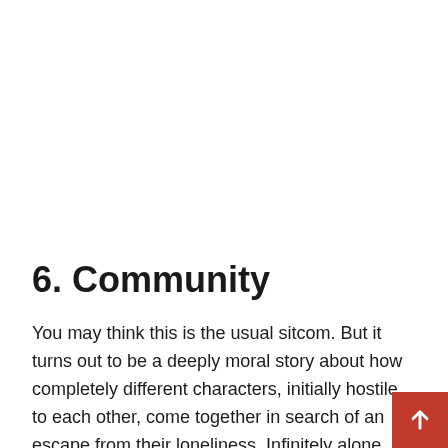6. Community
You may think this is the usual sitcom. But it turns out to be a deeply moral story about how completely different characters, initially hostile to each other, come together in search of an escape from their loneliness. Infinitely alone and broken by life, the heroes learn together to communicate, to trust, to make friends and to love. The college, which is the main setting of series, is an incubator for the personal growth of each of th